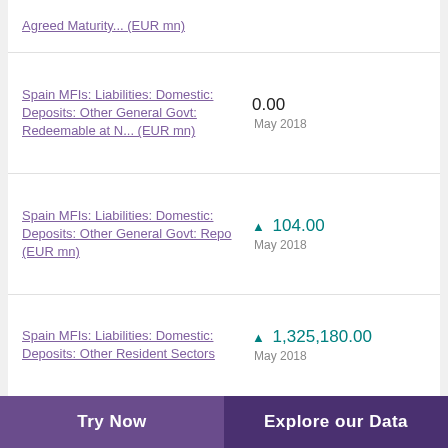Agreed Maturity... (EUR mn)
Spain MFIs: Liabilities: Domestic: Deposits: Other General Govt: Redeemable at N... (EUR mn) — 0.00, May 2018
Spain MFIs: Liabilities: Domestic: Deposits: Other General Govt: Repo (EUR mn) — ▲ 104.00, May 2018
Spain MFIs: Liabilities: Domestic: Deposits: Other Resident Sectors — ▲ 1,325,180.00, May 2018
Try Now | Explore our Data